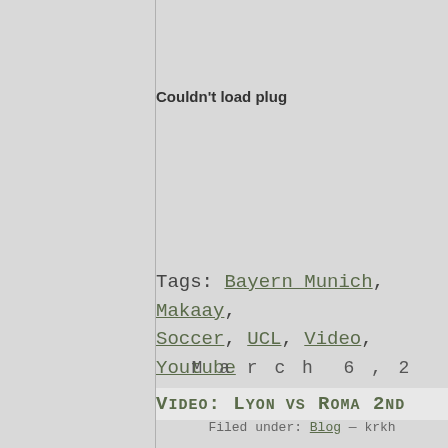Couldn't load plug
Tags: Bayern Munich, Makaay, Soccer, UCL, Video, Youtube
March 6, 2
Video: Lyon vs Roma 2nd
Filed under: Blog — krkh